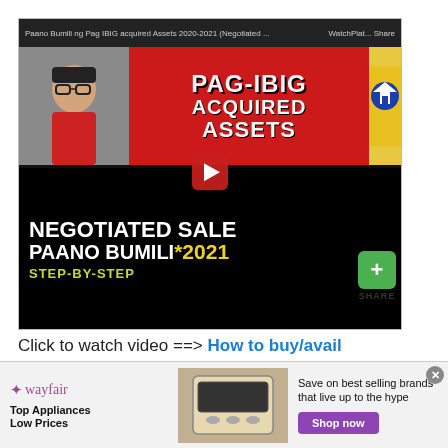[Figure (screenshot): YouTube video thumbnail screenshot showing 'Paano Bumili ng Pag-IBIG Acquired Assets 2020-2021 (Negotiated Sale)' video with PAG-IBIG ACQUIRED ASSETS text on red background, NEGOTIATED SALE PAANO BUMILI *2021 STEP-BY-STEP text on black background, person in red shirt, Pag-IBIG logo, play button, and Share button with green plus icon]
Click to watch video ==> How to buy/avail Pag-IBIG acquired assets if you do not...
[Figure (screenshot): Wayfair advertisement banner: Top Appliances Low Prices, Save on best selling brands that live up to the hype, Shop now button]